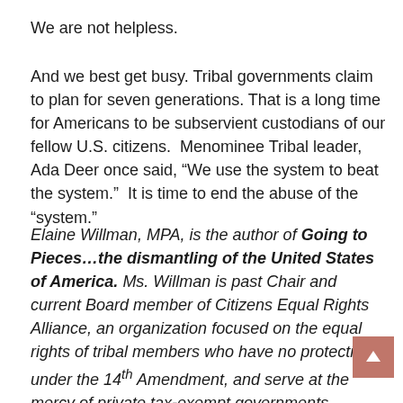We are not helpless.
And we best get busy. Tribal governments claim to plan for seven generations. That is a long time for Americans to be subservient custodians of our fellow U.S. citizens.  Menominee Tribal leader, Ada Deer once said, “We use the system to beat the system.”  It is time to end the abuse of the “system.”
Elaine Willman, MPA, is the author of Going to Pieces…the dismantling of the United States of America. Ms. Willman is past Chair and current Board member of Citizens Equal Rights Alliance, an organization focused on the equal rights of tribal members who have no protections under the 14th Amendment, and serve at the mercy of private tax-exempt governments annually subsidized without inquiry or consent of American taxpayers. Reach her at toppin@aol.com